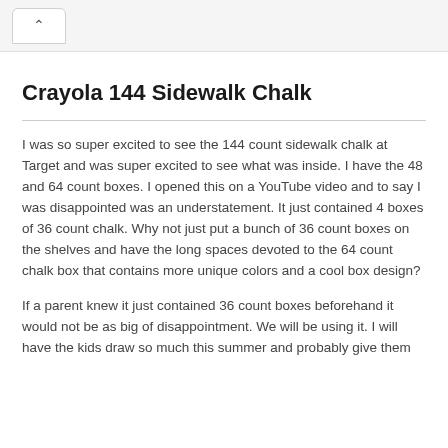^
Crayola 144 Sidewalk Chalk
I was so super excited to see the 144 count sidewalk chalk at Target and was super excited to see what was inside. I have the 48 and 64 count boxes. I opened this on a YouTube video and to say I was disappointed was an understatement. It just contained 4 boxes of 36 count chalk. Why not just put a bunch of 36 count boxes on the shelves and have the long spaces devoted to the 64 count chalk box that contains more unique colors and a cool box design?
If a parent knew it just contained 36 count boxes beforehand it would not be as big of disappointment. We will be using it. I will have the kids draw so much this summer and probably give them